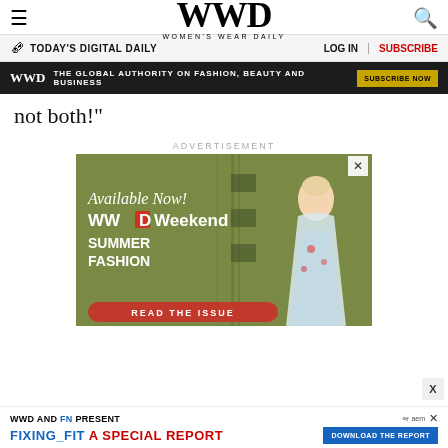WWD WOMEN'S WEAR DAILY
TODAY'S DIGITAL DAILY   LOG IN   SUBSCRIBE
WWD THE GLOBAL AUTHORITY ON FASHION, BEAUTY AND BUSINESS SUBSCRIBE NOW
not both!"
ADVERTISEMENT
[Figure (photo): WWD Weekend Summer Fashion advertisement with model in floral dress against olive green background. Text reads 'Available Now! WWD Weekend SUMMER FASHION READ THE ISSUE']
WWD AND FN PRESENT FIXING_FIT A SPECIAL REPORT DOWNLOAD THE REPORT